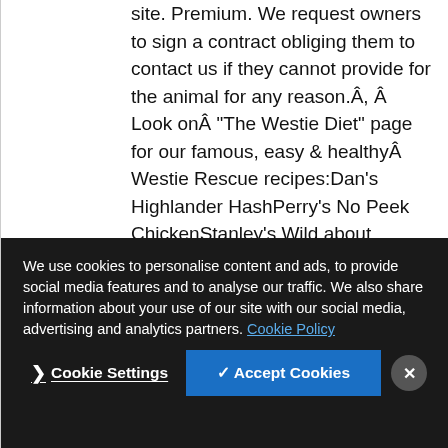site. Premium. We request owners to sign a contract obliging them to contact us if they cannot provide for the animal for any reason.Â, Â  Look onÂ "The Westie Diet" page for our famous, easy & healthyÂ Westie Rescue recipes:Dan's Highlander HashPerry's No Peek ChickenStanley's Wild about Salmon. Westie Rescue of Orange County & Beyond, Huntington Beach, CA. Nov 30, 2016 - "Click here to view Westie Dogs in California for adoption. They want nothing more than the chance to enjoy the rest of their livesÂ in a home where they will be loved. Westie Rescue of California and seven Western states. Is a charitable and educational private independent not-for-profit organization As our Mission Statement...
We use cookies to personalise content and ads, to provide social media features and to analyse our traffic. We also share information about your use of our site with our social media, advertising and analytics partners. Cookie Policy